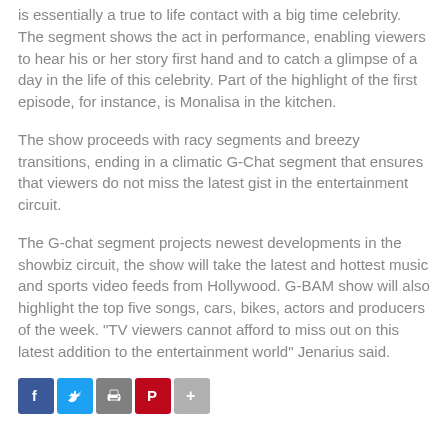is essentially a true to life contact with a big time celebrity. The segment shows the act in performance, enabling viewers to hear his or her story first hand and to catch a glimpse of a day in the life of this celebrity. Part of the highlight of the first episode, for instance, is Monalisa in the kitchen.
The show proceeds with racy segments and breezy transitions, ending in a climatic G-Chat segment that ensures that viewers do not miss the latest gist in the entertainment circuit.
The G-chat segment projects newest developments in the showbiz circuit, the show will take the latest and hottest music and sports video feeds from Hollywood. G-BAM show will also highlight the top five songs, cars, bikes, actors and producers of the week. "TV viewers cannot afford to miss out on this latest addition to the entertainment world" Jenarius said.
[Figure (other): Social sharing icons: Facebook (blue), Twitter (blue), Print (grey), Pinterest (red), More (grey plus)]